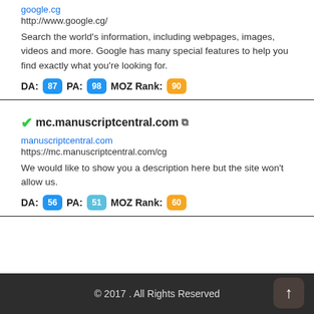google.cg
http://www.google.cg/
Search the world's information, including webpages, images, videos and more. Google has many special features to help you find exactly what you're looking for.
DA: 87  PA: 98  MOZ Rank: 90
mc.manuscriptcentral.com
manuscriptcentral.com
https://mc.manuscriptcentral.com/cg
We would like to show you a description here but the site won't allow us.
DA: 56  PA: 51  MOZ Rank: 60
© 2017 . All Rights Reserved